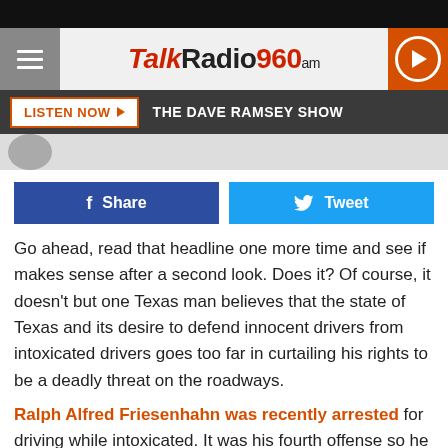[Figure (screenshot): TalkRadio960am website header with hamburger menu, logo, and play button]
[Figure (screenshot): Listen Now button bar showing THE DAVE RAMSEY SHOW]
[Figure (screenshot): Social share buttons: Share (Facebook) and Tweet (Twitter)]
Go ahead, read that headline one more time and see if makes sense after a second look. Does it? Of course, it doesn't but one Texas man believes that the state of Texas and its desire to defend innocent drivers from intoxicated drivers goes too far in curtailing his rights to be a deadly threat on the roadways.
Ralph Alfred Friesenhahn was recently arrested for driving while intoxicated. It was his fourth offense so he probably